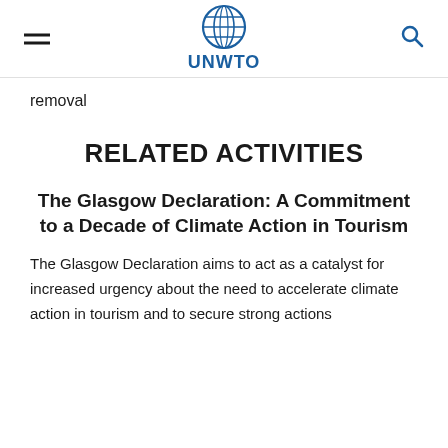UNWTO
removal
RELATED ACTIVITIES
The Glasgow Declaration: A Commitment to a Decade of Climate Action in Tourism
The Glasgow Declaration aims to act as a catalyst for increased urgency about the need to accelerate climate action in tourism and to secure strong actions